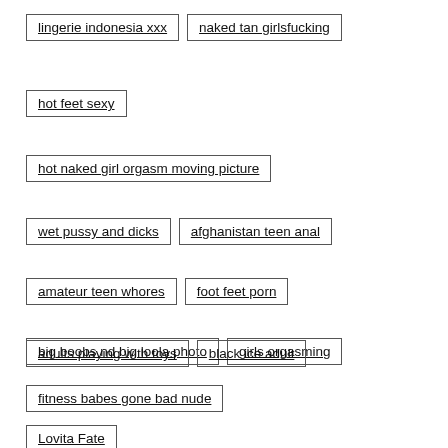lingerie indonesia xxx
naked tan girlsfucking
hot feet sexy
hot naked girl orgasm moving picture
wet pussy and dicks
afghanistan teen anal
amateur teen whores
foot feet porn
big boobs nd big loola photo
girls orgasming
adults playing with toys
black ice adult
fitness babes gone bad nude
Lovita Fate